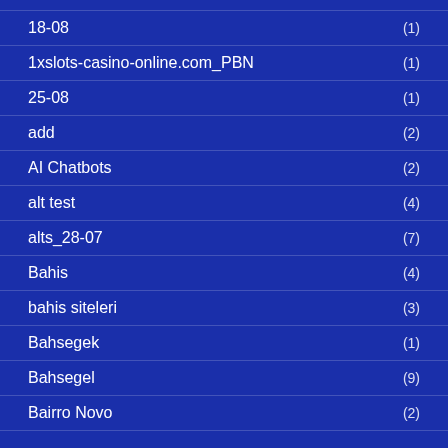18-08 (1)
1xslots-casino-online.com_PBN (1)
25-08 (1)
add (2)
AI Chatbots (2)
alt test (4)
alts_28-07 (7)
Bahis (4)
bahis siteleri (3)
Bahsegek (1)
Bahsegel (9)
Bairro Novo (2)